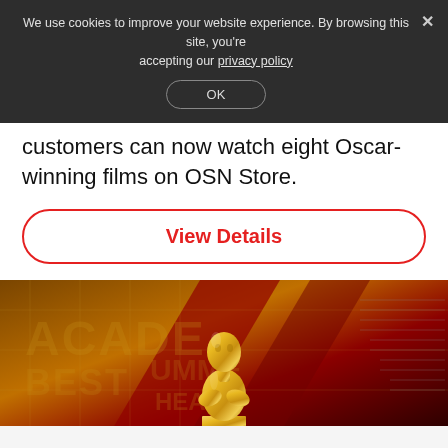We use cookies to improve your website experience. By browsing this site, you're accepting our privacy policy
OK
customers can now watch eight Oscar-winning films on OSN Store.
View Details
[Figure (photo): Oscar Academy Award golden statue on a dramatic red and gold background with decorative text elements]